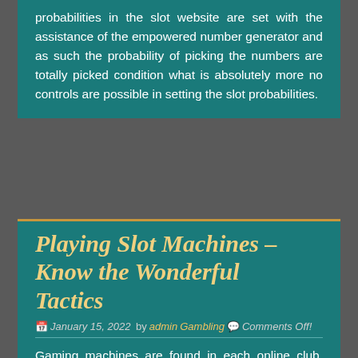probabilities in the slot website are set with the assistance of the empowered number generator and as such the probability of picking the numbers are totally picked condition what is absolutely more no controls are possible in setting the slot probabilities.
Playing Slot Machines – Know the Wonderful Tactics
January 15, 2022 by admin Gambling Comments Off!
Gaming machines are found in each online club, regardless of whether land based or online. They are one of the most productive games around and come in numerous shapes and structures, all which welcome energizing play and nerve-shivering activity.